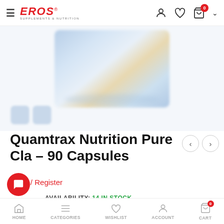EROS Supplements & Nutrition
[Figure (photo): Blurred product image of Quamtrax Nutrition Pure CLA 90 Capsules container with two thumbnail images below]
Quamtrax Nutrition Pure Cla – 90 Capsules
Login / Register
AVAILABILITY: 14 IN STOCK
SKU: 8436046970137
HOME   CATEGORIES   WISHLIST   ACCOUNT   CART